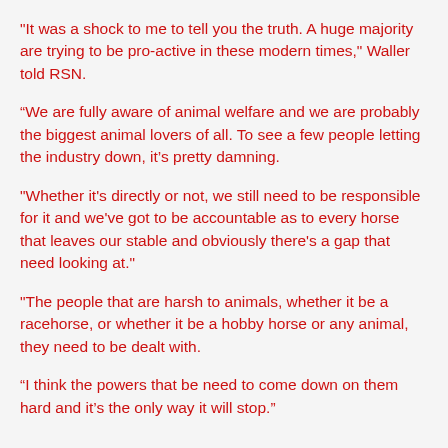"It was a shock to me to tell you the truth. A huge majority are trying to be pro-active in these modern times," Waller told RSN.
“We are fully aware of animal welfare and we are probably the biggest animal lovers of all. To see a few people letting the industry down, it’s pretty damning.
"Whether it's directly or not, we still need to be responsible for it and we've got to be accountable as to every horse that leaves our stable and obviously there's a gap that need looking at."
"The people that are harsh to animals, whether it be a racehorse, or whether it be a hobby horse or any animal, they need to be dealt with.
“I think the powers that be need to come down on them hard and it’s the only way it will stop.”